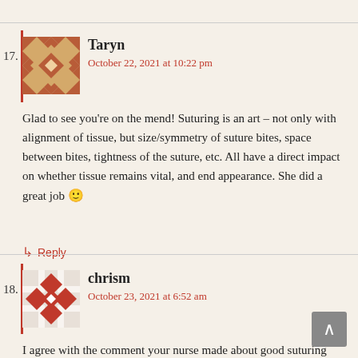17. Taryn — October 22, 2021 at 10:22 pm — Glad to see you're on the mend! Suturing is an art – not only with alignment of tissue, but size/symmetry of suture bites, space between bites, tightness of the suture, etc. All have a direct impact on whether tissue remains vital, and end appearance. She did a great job 🙂
18. chrism — October 23, 2021 at 6:52 am — I agree with the comment your nurse made about good suturing being an art form. I enjoyed doing it neatly (maybe, Randall Schenck, because I didn't have a Mercedes to park, just a rusty